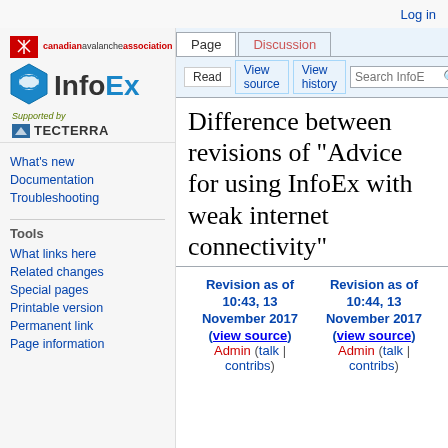Log in
[Figure (logo): Canadian Avalanche Association logo with InfoEx wordmark and Tecterra support]
What's new
Documentation
Troubleshooting
Tools
What links here
Related changes
Special pages
Printable version
Permanent link
Page information
Difference between revisions of "Advice for using InfoEx with weak internet connectivity"
| Revision as of 10:43, 13 November 2017 (view source) | Revision as of 10:44, 13 November 2017 (view source) |
| --- | --- |
| Admin (talk | contribs) | Admin (talk | contribs) |